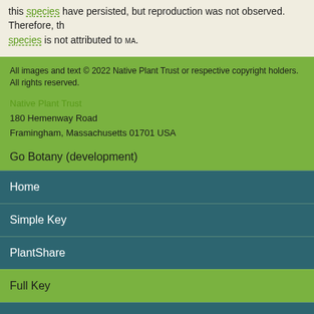this species have persisted, but reproduction was not observed. Therefore, the species is not attributed to MA.
All images and text © 2022 Native Plant Trust or respective copyright holders. All rights reserved.
Native Plant Trust
180 Hemenway Road
Framingham, Massachusetts 01701 USA
Go Botany (development)
Home
Simple Key
PlantShare
Full Key
Dichotomous Key
Teaching